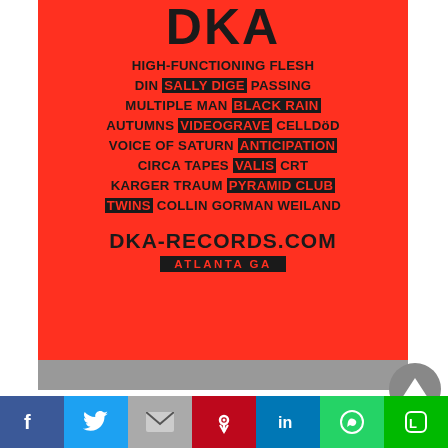[Figure (other): Red poster for DKA Records featuring band lineup. Text on red background with some names highlighted in black boxes. Lists: HIGH-FUNCTIONING FLESH, DIN SALLY DIGE PASSING, MULTIPLE MAN BLACK RAIN, AUTUMNS VIDEOGRAVE CELLDöD, VOICE OF SATURN ANTICIPATION, CIRCA TAPES VALIS CRT, KARGER TRAUM PYRAMID CLUB, TWINS COLLIN GORMAN WEILAND, DKA-RECORDS.COM, ATLANTA GA]
[Figure (other): Partially visible image at bottom of poster area, appears grayscale/textured]
[Figure (other): Gray circular scroll-to-top button with upward triangle]
[Figure (other): Social media share bar with Facebook, Twitter, Gmail, Pinterest, LinkedIn, WhatsApp, LINE buttons]